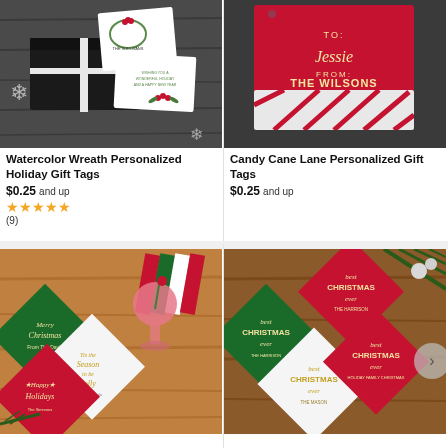[Figure (photo): Watercolor wreath holiday gift tags on black gift box with snowflake decorations]
Watercolor Wreath Personalized Holiday Gift Tags
$0.25 and up
[Figure (other): 5 gold star rating]
(9)
[Figure (photo): Candy Cane Lane personalized gift tags, red with TO: Jessie FROM: THE WILSONS and candy cane stripe border]
Candy Cane Lane Personalized Gift Tags
$0.25 and up
[Figure (photo): Colorful Christmas cocktail napkins: green Merry Christmas, white Season to be Jolly, red Happy Holidays with holiday drink]
[Figure (photo): Best Christmas Ever personalized napkins in white, green and red arranged on wooden surface]